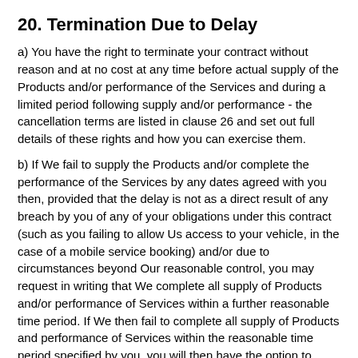20. Termination Due to Delay
a) You have the right to terminate your contract without reason and at no cost at any time before actual supply of the Products and/or performance of the Services and during a limited period following supply and/or performance - the cancellation terms are listed in clause 26 and set out full details of these rights and how you can exercise them.
b) If We fail to supply the Products and/or complete the performance of the Services by any dates agreed with you then, provided that the delay is not as a direct result of any breach by you of any of your obligations under this contract (such as you failing to allow Us access to your vehicle, in the case of a mobile service booking) and/or due to circumstances beyond Our reasonable control, you may request in writing that We complete all supply of Products and/or performance of Services within a further reasonable time period. If We then fail to complete all supply of Products and performance of Services within the reasonable time period specified by you, you will then have the option to terminate this contract due to Our breach.
21. Contract Termination